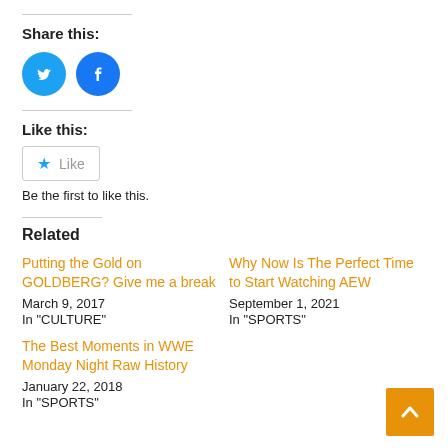Share this:
[Figure (illustration): Twitter and Facebook social share icon buttons (blue circles with white logos)]
Like this:
[Figure (illustration): Like button with blue star icon and 'Like' text, followed by 'Be the first to like this.']
Related
Putting the Gold on GOLDBERG? Give me a break
March 9, 2017
In "CULTURE"
Why Now Is The Perfect Time to Start Watching AEW
September 1, 2021
In "SPORTS"
The Best Moments in WWE Monday Night Raw History
January 22, 2018
In "SPORTS"